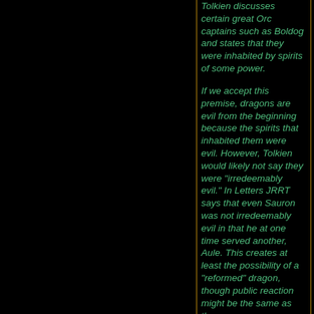Tolkien discusses certain great Orc captains such as Boldog and states that they were inhabited by spirits of some power.

If we accept this premise, dragons are evil from the beginning because the spirits that inhabited them were evil. However, Tolkien would likely not say they were "irredeemably evil." In Letters JRRT says that even Sauron was not irredeemably evil in that he at one time served another, Aule. This creates at least the possibility of a "reformed" dragon, though public reaction might be the same as the